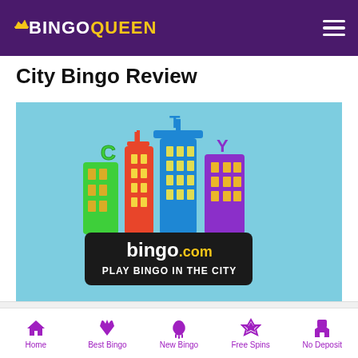BingoQueen
City Bingo Review
[Figure (logo): City Bingo logo: colorful 3D city buildings spelling CITY with bingo.com and tagline PLAY BINGO IN THE CITY on a light blue background]
Home | Best Bingo | New Bingo | Free Spins | No Deposit